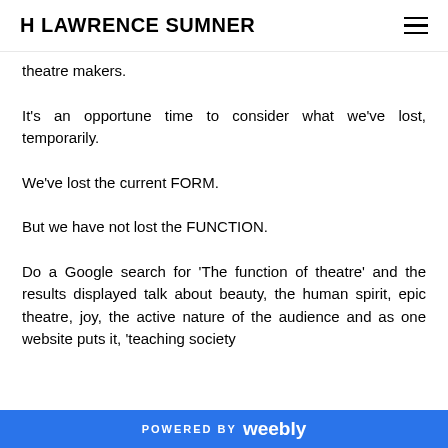H LAWRENCE SUMNER
theatre makers.
It's an opportune time to consider what we've lost, temporarily.
We've lost the current FORM.
But we have not lost the FUNCTION.
Do a Google search for 'The function of theatre' and the results displayed talk about beauty, the human spirit, epic theatre, joy, the active nature of the audience and as one website puts it, 'teaching society
POWERED BY weebly